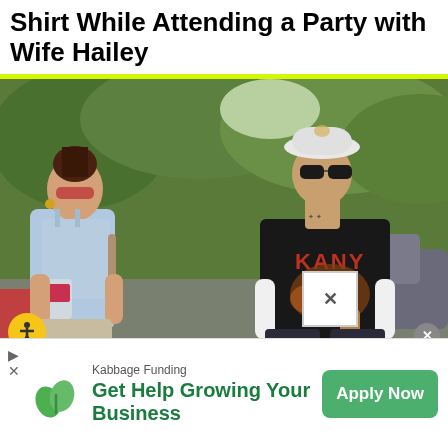Shirt While Attending a Party with Wife Hailey
[Figure (photo): Photo of a woman in a light blue tank top holding an iced drink and a man wearing a black Kanye graphic t-shirt, white bucket hat, and sunglasses, walking outdoors near a car with green trees in the background.]
Kabbage Funding
Get Help Growing Your Business